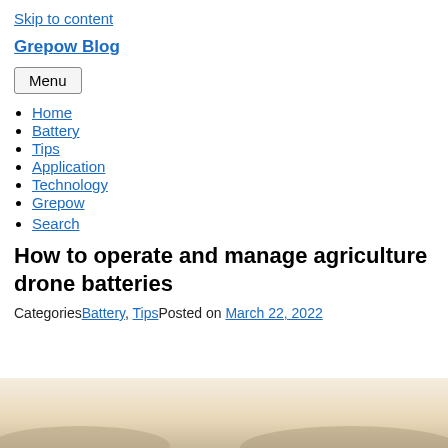Skip to content
Grepow Blog
Menu
Home
Battery
Tips
Application
Technology
Grepow
Search
How to operate and manage agriculture drone batteries
CategoriesBattery, TipsPosted on March 22, 2022
[Figure (photo): Partial view of an agriculture drone in an outdoor field setting, showing the bottom portion of the image with a pale sandy/beige sky background.]